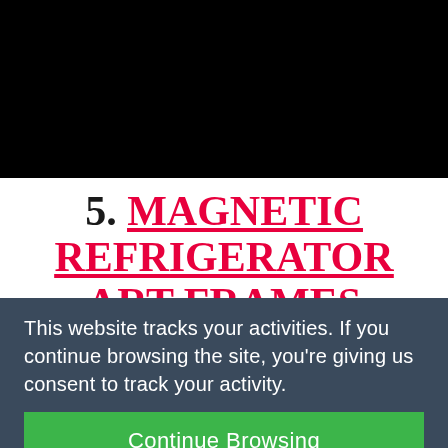[Figure (photo): Black background image taking up the top portion of the page, partially showing what appears to be a lifestyle/editorial photo]
5. MAGNETIC REFRIGERATOR ART FRAMES
This website tracks your activities. If you continue browsing the site, you're giving us consent to track your activity.
Continue Browsing